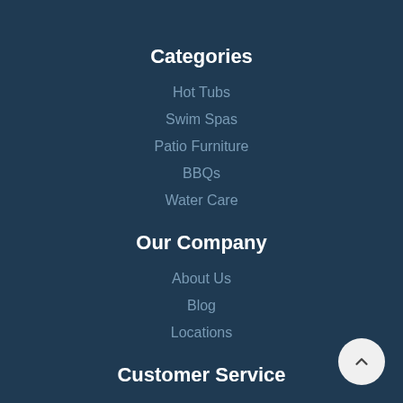Categories
Hot Tubs
Swim Spas
Patio Furniture
BBQs
Water Care
Our Company
About Us
Blog
Locations
Customer Service